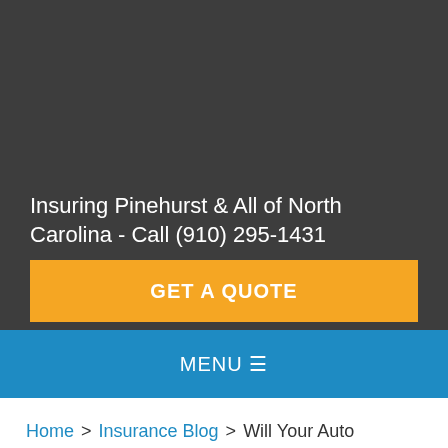Insuring Pinehurst & All of North Carolina - Call (910) 295-1431
GET A QUOTE
MENU ☰
Home > Insurance Blog > Will Your Auto Insurance Cover Your Passengers?